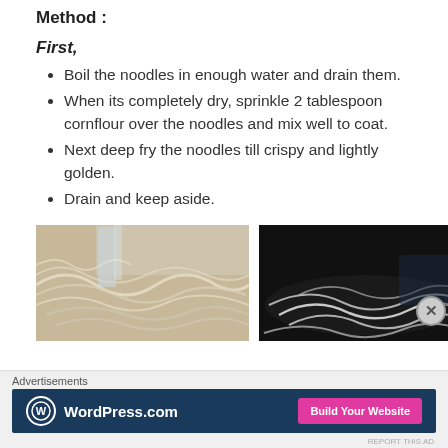Method :
First,
Boil the noodles in enough water and drain them.
When its completely dry, sprinkle 2 tablespoon cornflour over the noodles and mix well to coat.
Next deep fry the noodles till crispy and lightly golden.
Drain and keep aside.
[Figure (photo): Close-up photo of boiled white noodles in a metal colander/bowl with tongs]
[Figure (photo): Close-up photo of noodles in a dark black bowl/pan, coated with cornflour]
Advertisements
[Figure (other): WordPress.com advertisement banner with 'Build Your Website' button]